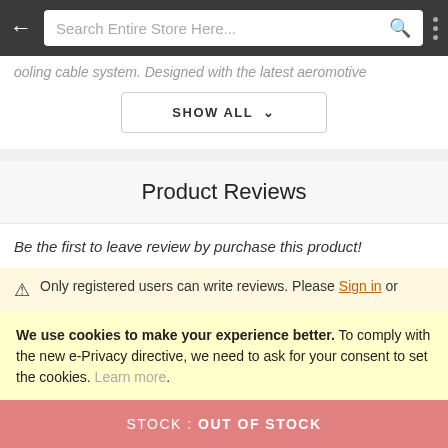Search Entire Store Here...
...ooling cable system. Designed with the latest aeromotive...
SHOW ALL
Product Reviews
Be the first to leave review by purchase this product!
Only registered users can write reviews. Please Sign in or
We use cookies to make your experience better. To comply with the new e-Privacy directive, we need to ask for your consent to set the cookies. Learn more.
ALLOW COOKIES
STOCK : OUT OF STOCK